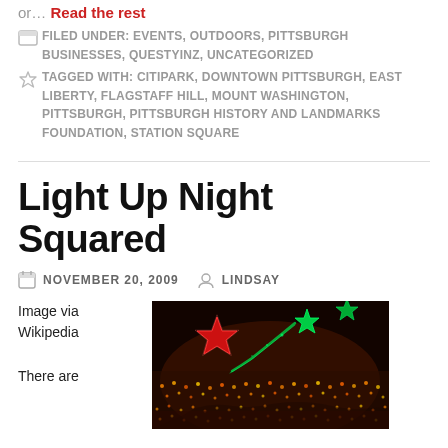or… Read the rest
FILED UNDER: EVENTS, OUTDOORS, PITTSBURGH BUSINESSES, QUESTYINZ, UNCATEGORIZED
TAGGED WITH: CITIPARK, DOWNTOWN PITTSBURGH, EAST LIBERTY, FLAGSTAFF HILL, MOUNT WASHINGTON, PITTSBURGH, PITTSBURGH HISTORY AND LANDMARKS FOUNDATION, STATION SQUARE
Light Up Night Squared
NOVEMBER 20, 2009   LINDSAY
Image via Wikipedia
There are
[Figure (photo): Christmas lights display at night showing red star, shooting star, and holiday light decorations]